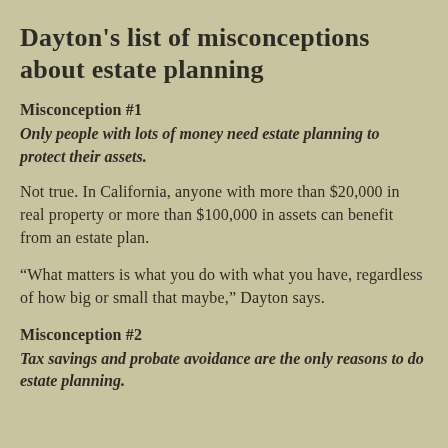Dayton's list of misconceptions about estate planning
Misconception #1
Only people with lots of money need estate planning to protect their assets.
Not true. In California, anyone with more than $20,000 in real property or more than $100,000 in assets can benefit from an estate plan.
“What matters is what you do with what you have, regardless of how big or small that maybe,” Dayton says.
Misconception #2
Tax savings and probate avoidance are the only reasons to do estate planning.